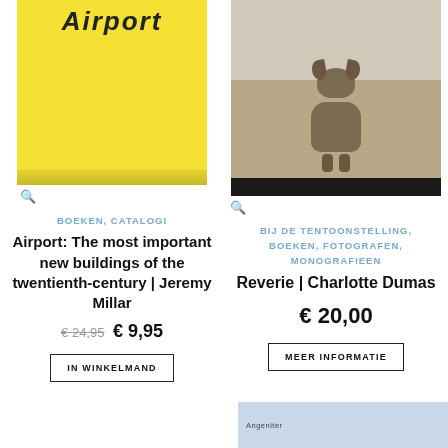[Figure (photo): Yellow book cover with 'Airport' title in italic text, left column product image]
🔍
BOEKEN, CATALOGI
Airport: The most important new buildings of the twentienth-century | Jeremy Millar
€ 24,95  € 9,95
IN WINKELMAND
[Figure (photo): Photo of a dog sitting on pavement, right column product image for Charlotte Dumas book]
🔍
BIJ DE TENTOONSTELLING, BOEKEN, FOTOGRAFEN, MONOGRAFIEEN
Reverie | Charlotte Dumas
€ 20,00
MEER INFORMATIE
[Figure (screenshot): Partial thumbnail image at bottom right, appears to show another product]